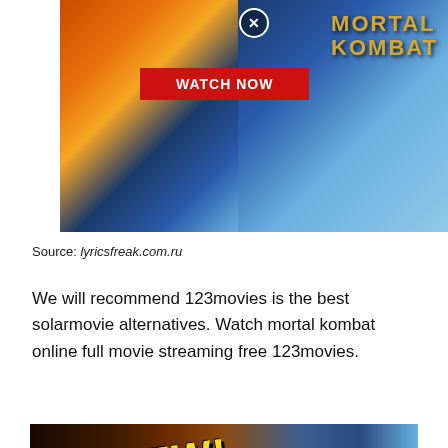[Figure (photo): Mortal Kombat movie promotional banner with fire and ice character faces split, 'MORTAL KOMBAT' text in gold, red 'WATCH NOW' button, and a close (X) button overlay]
Source: lyricsfreak.com.ru
We will recommend 123movies is the best solarmovie alternatives. Watch mortal kombat online full movie streaming free 123movies.
[Figure (photo): Mortal Kombat movie review thumbnail showing characters with 'REVIEW!' text in bold yellow, and a close (X) button overlay]